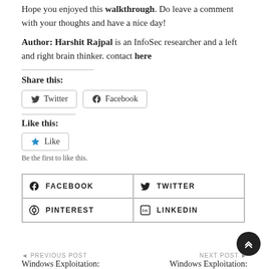Hope you enjoyed this walkthrough. Do leave a comment with your thoughts and have a nice day!
Author: Harshit Rajpal is an InfoSec researcher and a left and right brain thinker. contact here
Share this:
Like this:
Be the first to like this.
◄ PREVIOUS POST
Windows Exploitation:   NEXT POST ►
Windows Exploitation: